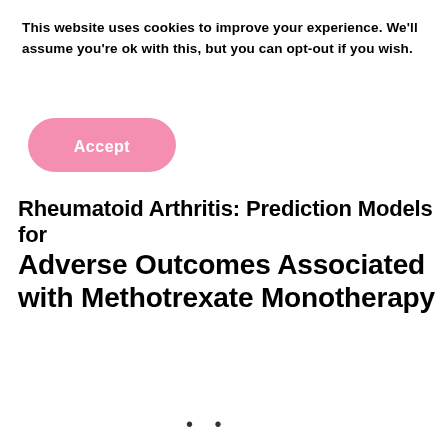This website uses cookies to improve your experience. We'll assume you're ok with this, but you can opt-out if you wish.
[Figure (other): Pink rounded rectangle Accept button]
Rheumatoid Arthritis: Prediction Models for Adverse Outcomes Associated with Methotrexate Monotherapy